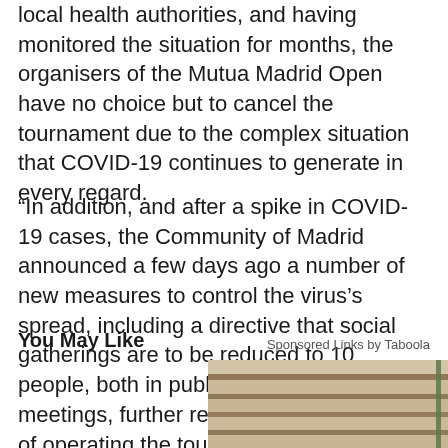local health authorities, and having monitored the situation for months, the organisers of the Mutua Madrid Open have no choice but to cancel the tournament due to the complex situation that COVID-19 continues to generate in every regard.
“In addition, and after a spike in COVID-19 cases, the Community of Madrid announced a few days ago a number of new measures to control the virus’s spread, including a directive that social gatherings are to be reduced to 10 people, both in public and private meetings, further reducing the feasibility of operating the tournament.”
You May Like
Sponsored Links by Taboola
[Figure (photo): Partial photo of a stone or brick wall texture, visible at bottom right of page]